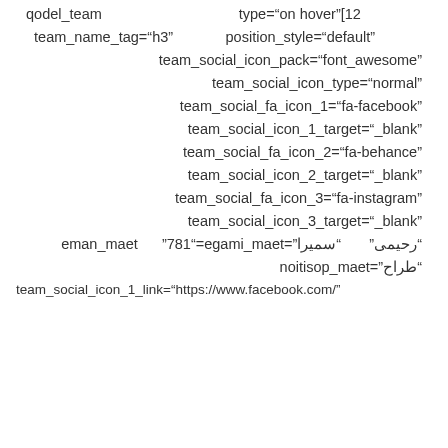qodel_team                                    type="on_hover"][12
team_name_tag="h3"         position_style="default"
team_social_icon_pack="font_awesome"
team_social_icon_type="normal"
team_social_fa_icon_1="fa-facebook"
team_social_icon_1_target="_blank"
team_social_fa_icon_2="fa-behance"
team_social_icon_2_target="_blank"
team_social_fa_icon_3="fa-instagram"
team_social_icon_3_target="_blank"
"رحیمی"        سمیرا"=team_image="187"      team_name
"طراح"=team_position
team_social_icon_1_link="https://www.facebook.com/"